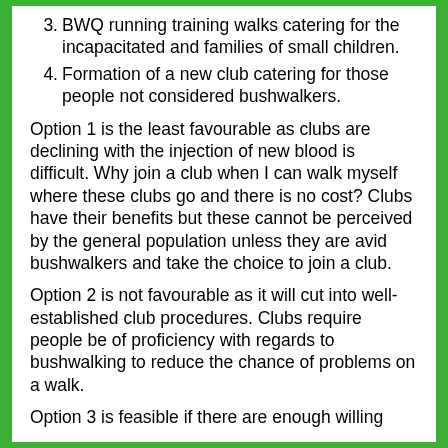3. BWQ running training walks catering for the incapacitated and families of small children.
4. Formation of a new club catering for those people not considered bushwalkers.
Option 1 is the least favourable as clubs are declining with the injection of new blood is difficult. Why join a club when I can walk myself where these clubs go and there is no cost? Clubs have their benefits but these cannot be perceived by the general population unless they are avid bushwalkers and take the choice to join a club.
Option 2 is not favourable as it will cut into well-established club procedures. Clubs require people be of proficiency with regards to bushwalking to reduce the chance of problems on a walk.
Option 3 is feasible if there are enough willing